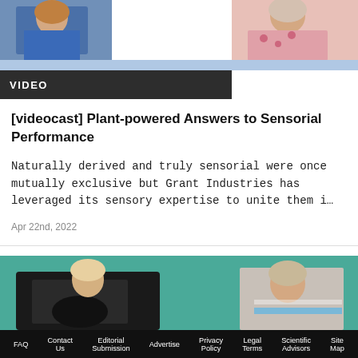[Figure (photo): Two people in medical/professional attire photographed from upper body, blue background strip below]
VIDEO
[videocast] Plant-powered Answers to Sensorial Performance
Naturally derived and truly sensorial were once mutually exclusive but Grant Industries has leveraged its sensory expertise to unite them i…
Apr 22nd, 2022
[Figure (photo): Two people visible from torso up, teal/green background, dark equipment visible on left]
FAQ  Contact Us  Editorial Submission  Advertise  Privacy Policy  Legal Terms  Scientific Advisors  Site Map